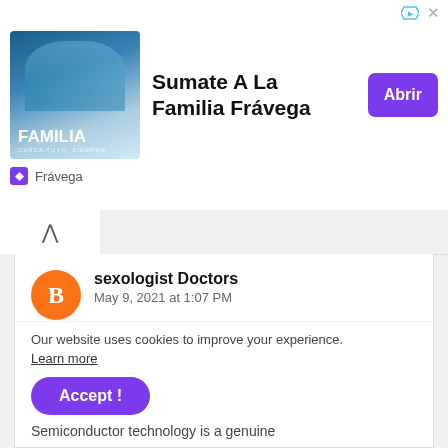[Figure (infographic): Advertisement banner for Frávega - 'Sumate A La Familia Frávega' with photo of people and purple 'Abrir' button]
sexologist Doctors
May 9, 2021 at 1:07 PM
Thanks for sharing this Blog commenting sites list, its very help full and helping to increase my website visibility.
sexologist Doctors
Reply
Our website uses cookies to improve your experience.
Learn more
Accept !
Semiconductor technology is a genuine